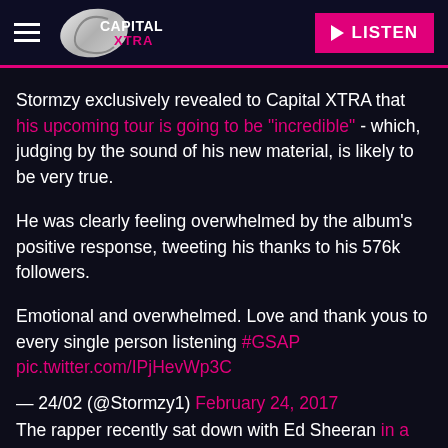Capital XTRA — LISTEN
Stormzy exclusively revealed to Capital XTRA that his upcoming tour is going to be "incredible" - which, judging by the sound of his new material, is likely to be very true.
He was clearly feeling overwhelmed by the album's positive response, tweeting his thanks to his 576k followers.
Emotional and overwhelmed. Love and thank yous to every single person listening #GSAP pic.twitter.com/IPjHevWp3C
— 24/02 (@Stormzy1) February 24, 2017
The rapper recently sat down with Ed Sheeran in a hilarious interview, shortly before announcing their new collaboration in the form of Ed's 'Shape Of You (Remix)' featuring a verse